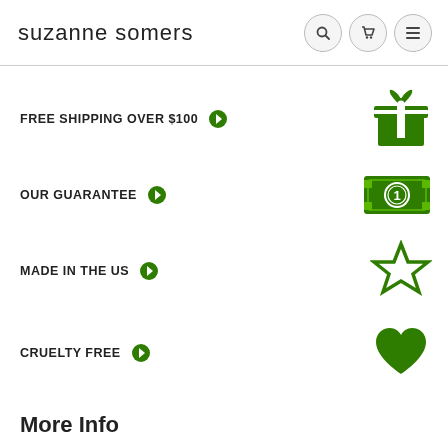suzanne somers
FREE SHIPPING OVER $100
OUR GUARANTEE
MADE IN THE US
CRUELTY FREE
More Info
Download Mobile App